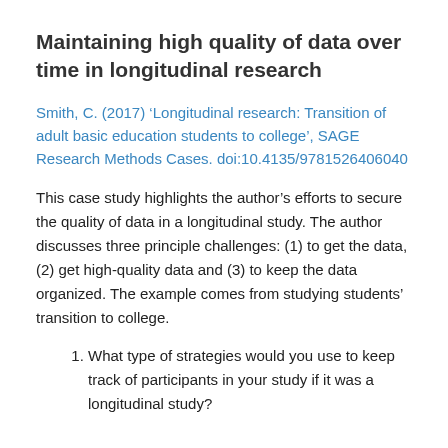Maintaining high quality of data over time in longitudinal research
Smith, C. (2017) ‘Longitudinal research: Transition of adult basic education students to college’, SAGE Research Methods Cases. doi:10.4135/9781526406040
This case study highlights the author’s efforts to secure the quality of data in a longitudinal study. The author discusses three principle challenges: (1) to get the data, (2) get high-quality data and (3) to keep the data organized. The example comes from studying students’ transition to college.
1. What type of strategies would you use to keep track of participants in your study if it was a longitudinal study?